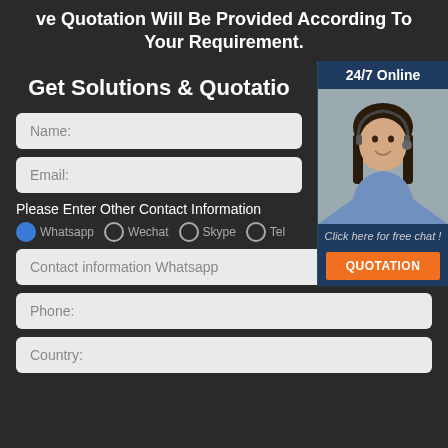ve Quotation Will Be Provided According To Your Requirement.
Get Solutions & Quotation
[Figure (photo): 24/7 Online customer service widget with photo of a smiling woman with headset, 'Click here for free chat!' text, and an orange QUOTATION button]
Name:
Email:
Please Enter Other Contact Information
Whatsapp (selected), Wechat, Skype, [more options]
Contact information Whatsapp
Phone:
Country: